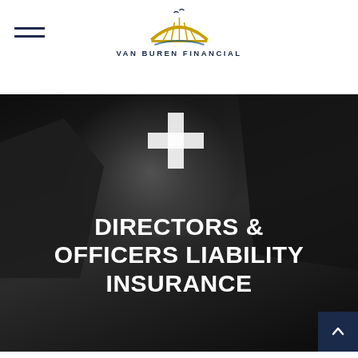VAN BUREN FINANCIAL
[Figure (photo): Black and white photo of a film set with cameras and lighting equipment. A white plus/cross icon is overlaid in the center-upper area. Bold white text reads 'DIRECTORS & OFFICERS LIABILITY INSURANCE' overlaid on the image.]
Directors and Officers Liability Insurance
Not only can D&O insurance provide financial protection, but it can help improve an organization's decision-making